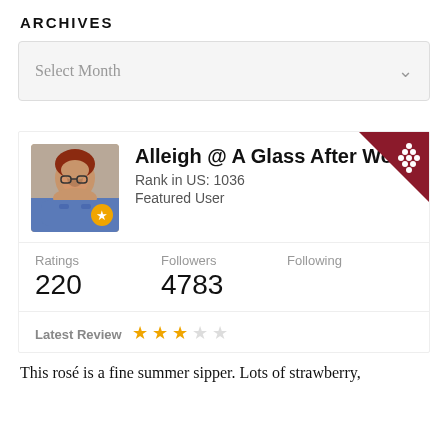ARCHIVES
[Figure (screenshot): Select Month dropdown widget with chevron]
[Figure (infographic): User profile card for Alleigh @ A Glass After Work with avatar, rank 1036, Featured User badge, stats showing 220 Ratings and 4783 Followers, and a Latest Review section with 3 out of 5 stars]
This rosé is a fine summer sipper. Lots of strawberry,